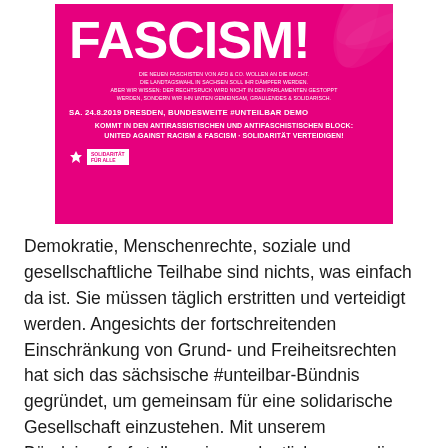[Figure (illustration): A pink/magenta protest poster with the text 'FASCISM!' in large bold white letters at the top, with smaller German text below describing an anti-fascist demonstration in Dresden on 24.8.2019, and details about the #unteilbar block. The poster has decorative leaf/floral elements in the top right corner.]
Demokratie, Menschenrechte, soziale und gesellschaftliche Teilhabe sind nichts, was einfach da ist. Sie müssen täglich erstritten und verteidigt werden. Angesichts der fortschreitenden Einschränkung von Grund- und Freiheitsrechten hat sich das sächsische #unteilbar-Bündnis gegründet, um gemeinsam für eine solidarische Gesellschaft einzustehen. Mit unserem Bündnisaufruf stellen wir uns deutlich gegen die politische Verschiebung und erteilen Rassismus und Menschenverachtung eine klare Absage. Wir lassen nicht zu, dass Sozialstaat, Flucht und Migration gegeneinander ausgespielt werden. Daher kommt am 24.8.